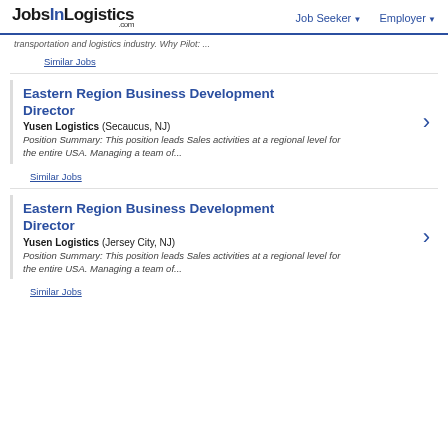JobsInLogistics.com | Job Seeker | Employer
transportation and logistics industry. Why Pilot: ...
Similar Jobs
Eastern Region Business Development Director
Yusen Logistics (Secaucus, NJ)
Position Summary: This position leads Sales activities at a regional level for the entire USA. Managing a team of...
Similar Jobs
Eastern Region Business Development Director
Yusen Logistics (Jersey City, NJ)
Position Summary: This position leads Sales activities at a regional level for the entire USA. Managing a team of...
Similar Jobs